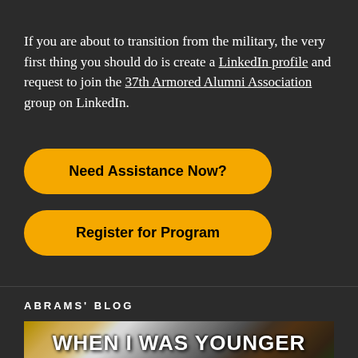If you are about to transition from the military, the very first thing you should do is create a LinkedIn profile and request to join the 37th Armored Alumni Association group on LinkedIn.
Need Assistance Now?
Register for Program
ABRAMS' BLOG
[Figure (photo): Military tank firing with smoke and fire, with text overlay 'WHEN I WAS YOUNGER']